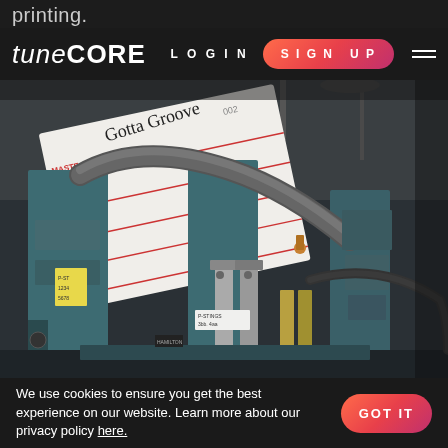printing.
tunecore LOGIN SIGN UP
[Figure (photo): Industrial vinyl record pressing machine with blue metal frame, hydraulic cylinders, tubes and cables, with a white record label sheet visible showing handwritten text 'Gotta Groove' and printed fields MASTE, PART #, CUST., SHIP TO, DATE]
We use cookies to ensure you get the best experience on our website. Learn more about our privacy policy here.